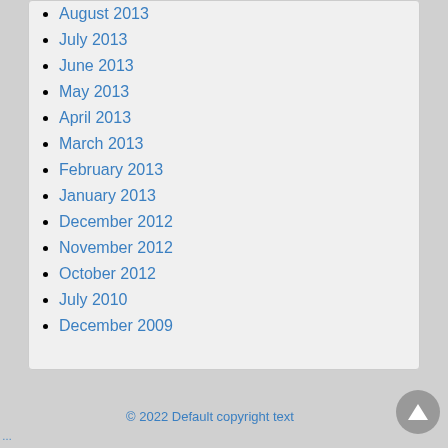August 2013
July 2013
June 2013
May 2013
April 2013
March 2013
February 2013
January 2013
December 2012
November 2012
October 2012
July 2010
December 2009
© 2022 Default copyright text